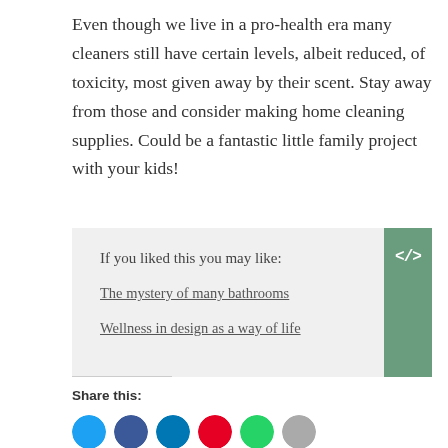Even though we live in a pro-health era many cleaners still have certain levels, albeit reduced, of toxicity, most given away by their scent. Stay away from those and consider making home cleaning supplies. Could be a fantastic little family project with your kids!
If you liked this you may like:
The mystery of many bathrooms
Wellness in design as a way of life
Share this: